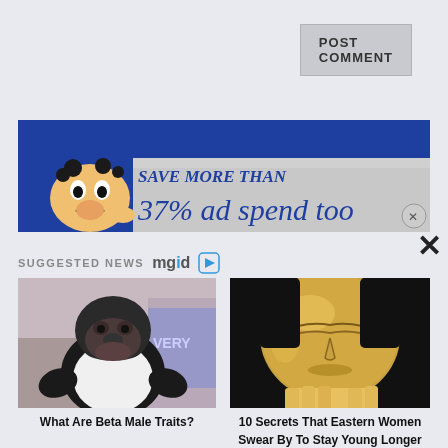POST COMMENT
SEARCH ...
[Figure (other): Advertisement banner: animated character with exaggerated face on blue background, text reads 'SAVE MORE THAN 37% ad spend too']
SUGGESTED NEWS mgid ▶
[Figure (photo): Photo of a gorilla wearing a white t-shirt, standing upright outdoors near a wall with graffiti]
What Are Beta Male Traits?
[Figure (photo): Photo of a woman with eyes closed, her face covered in gold leaf, hands touching her face]
10 Secrets That Eastern Women Swear By To Stay Young Longer